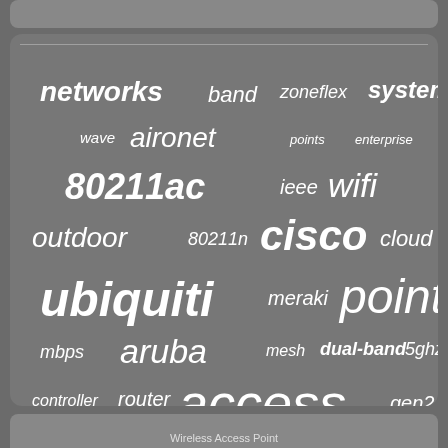[Figure (infographic): Word cloud about Wireless Access Point networking terms. Words include: networks, band, zoneflex, system, wave, aironet, points, enterprise, 80211ac, ieee, wifi, outdoor, 80211n, cisco, cloud, ubiquiti, meraki, point, mbps, aruba, mesh, dual-band, 5ghz, access, controller, router, gen2, wireless, range, gbits, wi-fi, dual, unifi, ruckus, pack]
Wireless Access Point